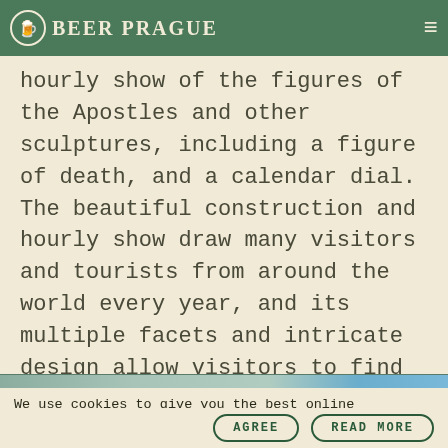BEER PRAGUE
hourly show of the figures of the Apostles and other sculptures, including a figure of death, and a calendar dial. The beautiful construction and hourly show draw many visitors and tourists from around the world every year, and its multiple facets and intricate design allow visitors to find something new each time they examine the attraction.
[Figure (photo): Partial image strip showing a Prague attraction scene]
We use cookies to give you the best online experience. By using our website you agree to our use of cookies in accordance with our cookie policy
AGREE   READ MORE